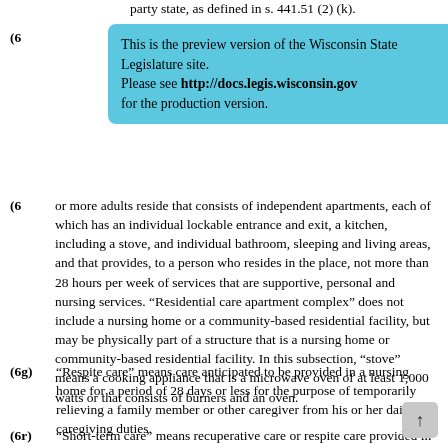party state, as defined in s. 441.51 (2) (k).
This is the preview version of the Wisconsin State Legislature site. Please see http://docs.legis.wisconsin.gov for the production version.
(6e) [partial] or more adults reside that consists of independent apartments, each of which has an individual lockable entrance and exit, a kitchen, including a stove, and individual bathroom, sleeping and living areas, and that provides, to a person who resides in the place, not more than 28 hours per week of services that are supportive, personal and nursing services. “Residential care apartment complex” does not include a nursing home or a community-based residential facility, but may be physically part of a structure that is a nursing home or community-based residential facility. In this subsection, “stove” means a cooking appliance that is a microwave oven of at least 1,000 watts or that consists of burners and an oven.
(6g) “Respite care” means care anticipated to be provided in a nursing home for a period of 28 days or less for the purpose of temporarily relieving a family member or other caregiver from his or her daily caregiving duties.
(6r) “Short-term care” means recuperative care or respite care provided in a nursing home.
(6v) “Skilled nursing services” means those services, to which